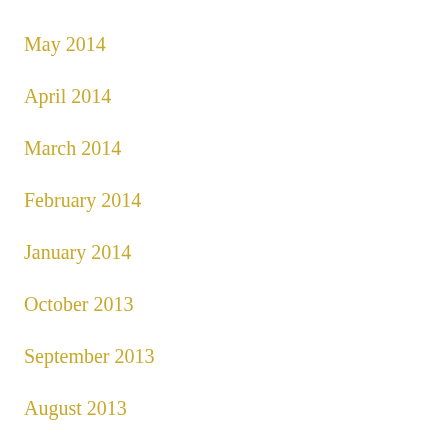May 2014
April 2014
March 2014
February 2014
January 2014
October 2013
September 2013
August 2013
July 2013
June 2013
May 2013